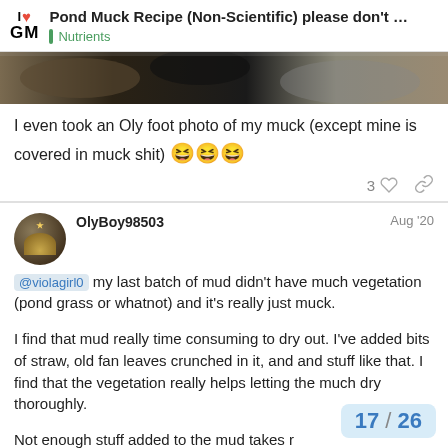Pond Muck Recipe (Non-Scientific) please don't ... | Nutrients
[Figure (photo): Close-up photo of dark pond muck/mud material]
I even took an Oly foot photo of my muck (except mine is covered in muck shit) 😆😆😆
3 ♡ 🔗
OlyBoy98503   Aug '20
@violagirl0 my last batch of mud didn't have much vegetation (pond grass or whatnot) and it's really just muck.
I find that mud really time consuming to dry out. I've added bits of straw, old fan leaves crunched in it, and and stuff like that. I find that the vegetation really helps letting the much dry thoroughly.
Not enough stuff added to the mud takes r
17 / 26